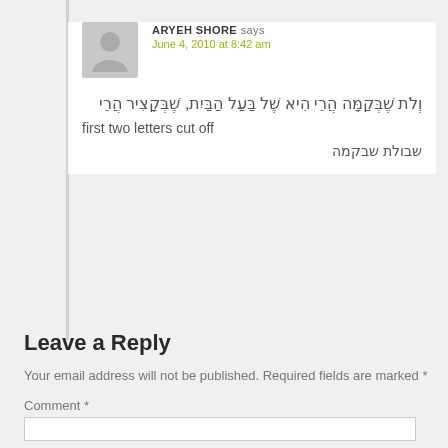ARYEH SHORE says
June 4, 2010 at 8:42 am
וְלֹת שֶׁבְּקַמָּה הֲרֵי הִיא שֶׁל בַּעַל הַבַּיִת, שֶׁבְּקָצִיר הֲרֵי
first two letters cut off
שבולת שבקמה
Leave a Reply
Your email address will not be published. Required fields are marked *
Comment *